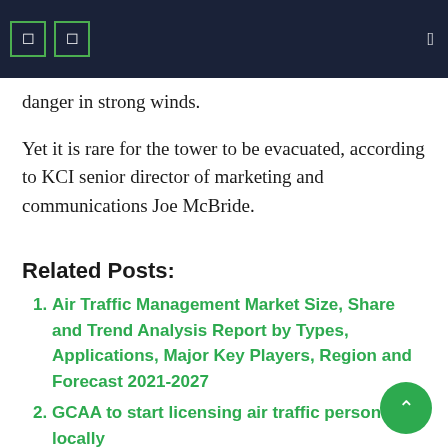danger in strong winds.
Yet it is rare for the tower to be evacuated, according to KCI senior director of marketing and communications Joe McBride.
Related Posts:
Air Traffic Management Market Size, Share and Trend Analysis Report by Types, Applications, Major Key Players, Region and Forecast 2021-2027
GCAA to start licensing air traffic personnel locally
DHMİ to recruit 61 assistant air traffic controllers
New equipment helps airport track air traffic